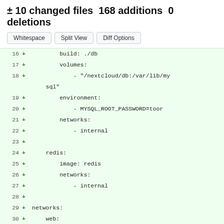± 10 changed files 168 additions 0 deletions
Whitespace | Split View | Diff Options
16 + build: ./db
17 + volumes:
18 + - "/nextcloud/db:/var/lib/mysql"
19 + environment:
20 + - MYSQL_ROOT_PASSWORD=toor
21 + networks:
22 + - internal
23 +
24 + redis:
25 + image: redis
26 + networks:
27 + - internal
28 +
29 + networks:
30 + web:
31 + external:
32 + name: proxy_web